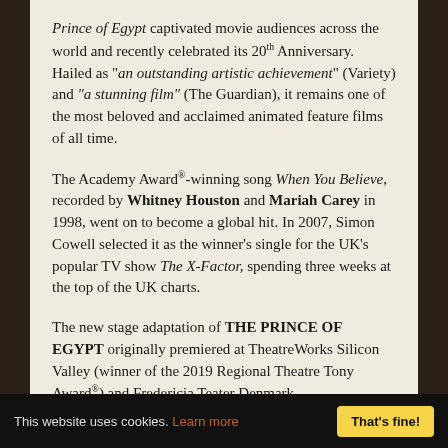Prince of Egypt captivated movie audiences across the world and recently celebrated its 20th Anniversary. Hailed as "an outstanding artistic achievement" (Variety) and "a stunning film" (The Guardian), it remains one of the most beloved and acclaimed animated feature films of all time.
The Academy Award®-winning song When You Believe, recorded by Whitney Houston and Mariah Carey in 1998, went on to become a global hit. In 2007, Simon Cowell selected it as the winner's single for the UK's popular TV show The X-Factor, spending three weeks at the top of the UK charts.
The new stage adaptation of THE PRINCE OF EGYPT originally premiered at TheatreWorks Silicon Valley (winner of the 2019 Regional Theatre Tony Award®) and Fredericia Teater Denmark.
This website uses cookies. Learn more   That's fine!